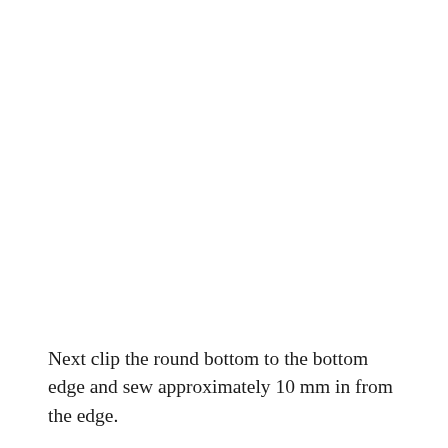Next clip the round bottom to the bottom edge and sew approximately 10 mm in from the edge.